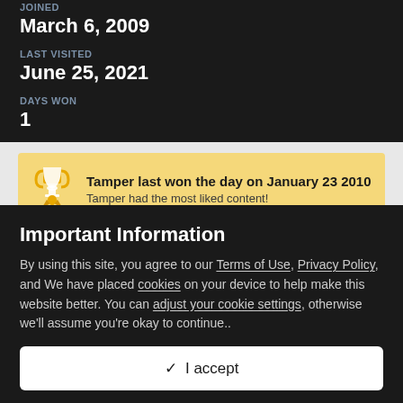JOINED
March 6, 2009
LAST VISITED
June 25, 2021
DAYS WON
1
Tamper last won the day on January 23 2010
Tamper had the most liked content!
COMMUNITY REPUTATION
Important Information
By using this site, you agree to our Terms of Use, Privacy Policy, and We have placed cookies on your device to help make this website better. You can adjust your cookie settings, otherwise we'll assume you're okay to continue..
✓  I accept